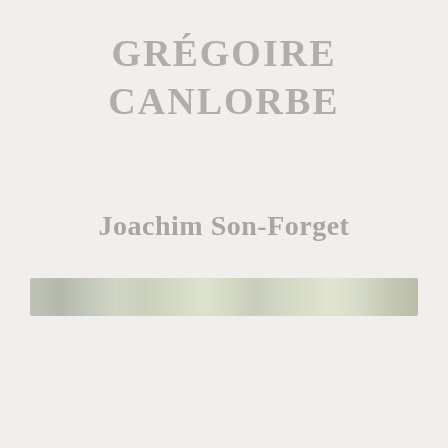GRÉGOIRE CANLORBE
Joachim Son-Forget
[Figure (photo): A narrow horizontal strip showing a blurred outdoor scene with green foliage and natural light, rendered in muted greenish-grey tones.]